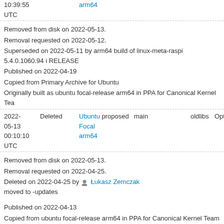10:39:55 UTC   arm64
Removed from disk on 2022-05-13.
Removal requested on 2022-05-12.
Superseded on 2022-05-11 by arm64 build of linux-meta-raspi 5.4.0.1060.94 i RELEASE
Published on 2022-04-19
Copied from Primary Archive for Ubuntu
Originally built as ubuntu focal-release arm64 in PPA for Canonical Kernel Tea
| Date | Status | Distro | Pocket | Component | Section | Priority |
| --- | --- | --- | --- | --- | --- | --- |
| 2022-05-13 00:10:10 UTC | Deleted | Ubuntu Focal arm64 | proposed | main | oldlibs | Optional |
Removed from disk on 2022-05-13.
Removal requested on 2022-04-25.
Deleted on 2022-04-25 by Łukasz Zemczak moved to -updates
Published on 2022-04-13
Copied from ubuntu focal-release arm64 in PPA for Canonical Kernel Team
| Date | Status | Distro | Pocket | Component | Section | Priority |
| --- | --- | --- | --- | --- | --- | --- |
| 2022-04-19 | Superseded | Ubuntu Focal | security | main | oldlibs | Optional |